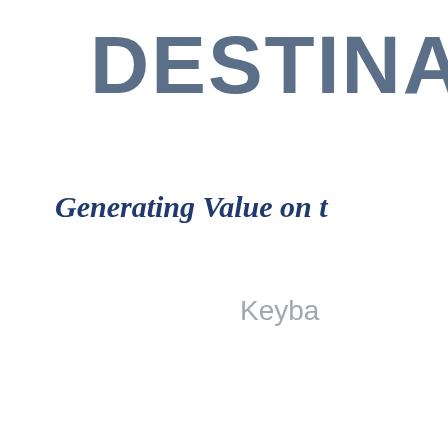DESTINA
Generating Value on t
Keyba